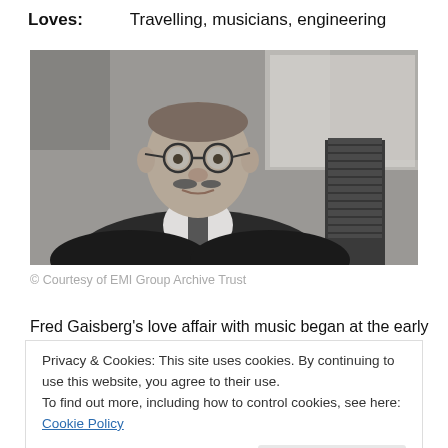Loves:    Travelling, musicians, engineering
[Figure (photo): Black and white photograph of a middle-aged man with round glasses and a mustache, wearing a suit, seated near a vintage microphone.]
© Courtesy of EMI Group Archive Trust
Fred Gaisberg's love affair with music began at the early
Privacy & Cookies: This site uses cookies. By continuing to use this website, you agree to their use.
To find out more, including how to control cookies, see here: Cookie Policy
United States Marine Band, John Philip Sousa.